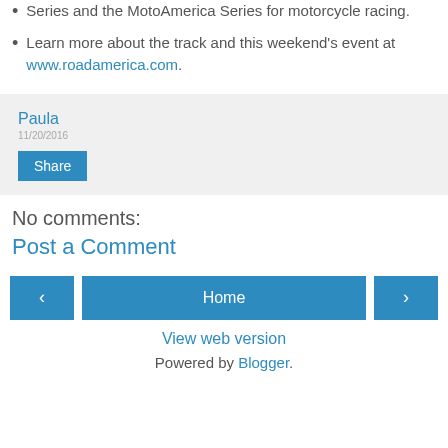Series and the MotoAmerica Series for motorcycle racing.
Learn more about the track and this weekend's event at www.roadamerica.com.
Paula
Share
No comments:
Post a Comment
Home
View web version
Powered by Blogger.